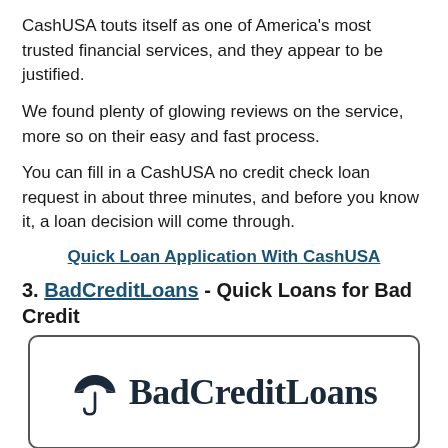CashUSA touts itself as one of America's most trusted financial services, and they appear to be justified.
We found plenty of glowing reviews on the service, more so on their easy and fast process.
You can fill in a CashUSA no credit check loan request in about three minutes, and before you know it, a loan decision will come through.
Quick Loan Application With CashUSA
3. BadCreditLoans - Quick Loans for Bad Credit
[Figure (logo): BadCreditLoans logo: umbrella icon followed by bold serif text 'BadCreditLoans' inside a rounded rectangle border]
Badcreditloans